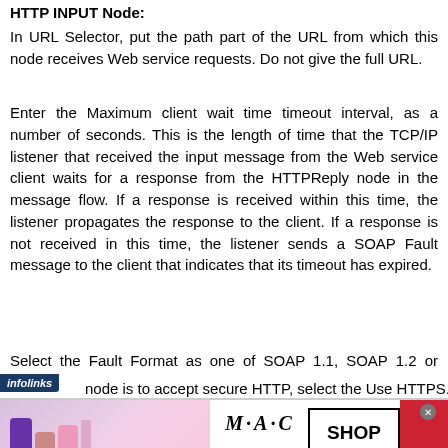HTTP INPUT Node:
In URL Selector, put the path part of the URL from which this node receives Web service requests. Do not give the full URL.
Enter the Maximum client wait time timeout interval, as a number of seconds. This is the length of time that the TCP/IP listener that received the input message from the Web service client waits for a response from the HTTPReply node in the message flow. If a response is received within this time, the listener propagates the response to the client. If a response is not received in this time, the listener sends a SOAP Fault message to the client that indicates that its timeout has expired.
Select the Fault Format as one of SOAP 1.1, SOAP 1.2 or HTML.
node is to accept secure HTTP, select the Use HTTPS...
[Figure (screenshot): Infolinks advertisement banner overlaying the page content, featuring MAC cosmetics lipstick advertisement with 'SHOP NOW' button]